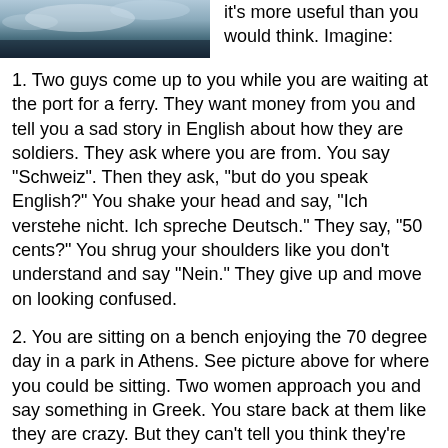[Figure (photo): Partial photo of a cloudy sky scene, cropped at top]
it's more useful than you would think. Imagine:
1. Two guys come up to you while you are waiting at the port for a ferry. They want money from you and tell you a sad story in English about how they are soldiers. They ask where you are from. You say "Schweiz". Then they ask, "but do you speak English?" You shake your head and say, "Ich verstehe nicht. Ich spreche Deutsch." They say, "50 cents?" You shrug your shoulders like you don't understand and say "Nein." They give up and move on looking confused.
2. You are sitting on a bench enjoying the 70 degree day in a park in Athens. See picture above for where you could be sitting. Two women approach you and say something in Greek. You stare back at them like they are crazy. But they can't tell you think they're crazy because you're wearing sunglasses. Since you don't say anything, they switch to English. "Do you speak English? We are Jehovah's Witnesses and we are spreading the word." You set down your English magazine and say, "Nein." They look at each other and say, "Oh, you are from Germany. Well we don't